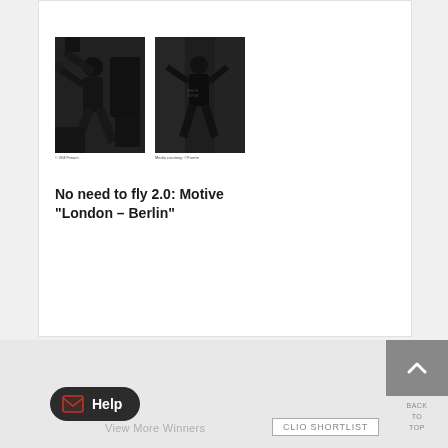[Figure (photo): Two black and white photographs side by side: left shows a person throwing something (graffiti art style, Banksy-like), right shows a similar figure in a different urban setting. Small captions below each photo.]
No need to fly 2.0: Motive "London – Berlin"
[Figure (illustration): Back to top button: grey square with upward chevron arrow icon]
BACK TO TOP
[Figure (illustration): Help button: dark rounded rectangle with envelope icon and 'Help' text in white]
View More Winners
CLIO SHORTLIST